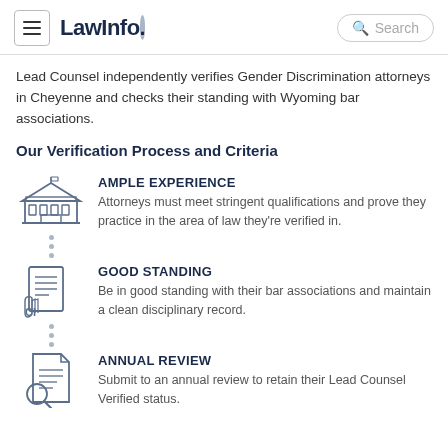LawInfo. Search
Lead Counsel independently verifies Gender Discrimination attorneys in Cheyenne and checks their standing with Wyoming bar associations.
Our Verification Process and Criteria
[Figure (illustration): Icon of a courthouse/government building]
AMPLE EXPERIENCE - Attorneys must meet stringent qualifications and prove they practice in the area of law they're verified in.
[Figure (illustration): Icon of a hand holding a document/certificate]
GOOD STANDING - Be in good standing with their bar associations and maintain a clean disciplinary record.
[Figure (illustration): Icon of a document with magnifying glass]
ANNUAL REVIEW - Submit to an annual review to retain their Lead Counsel Verified status.